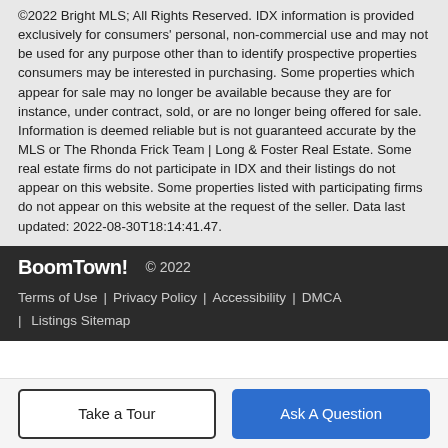©2022 Bright MLS; All Rights Reserved. IDX information is provided exclusively for consumers' personal, non-commercial use and may not be used for any purpose other than to identify prospective properties consumers may be interested in purchasing. Some properties which appear for sale may no longer be available because they are for instance, under contract, sold, or are no longer being offered for sale. Information is deemed reliable but is not guaranteed accurate by the MLS or The Rhonda Frick Team | Long & Foster Real Estate. Some real estate firms do not participate in IDX and their listings do not appear on this website. Some properties listed with participating firms do not appear on this website at the request of the seller. Data last updated: 2022-08-30T18:14:41.47.
BoomTown! © 2022 | Terms of Use | Privacy Policy | Accessibility | DMCA | Listings Sitemap
Take a Tour | Ask A Question